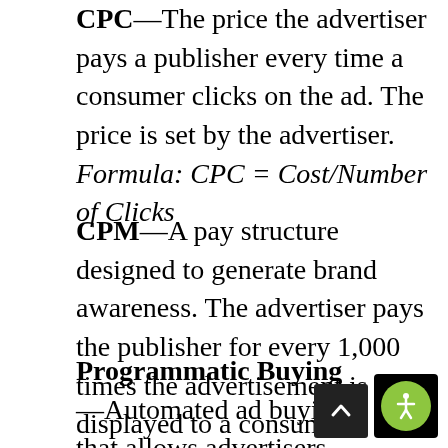CPC—The price the advertiser pays a publisher every time a consumer clicks on the ad. The price is set by the advertiser. Formula: CPC = Cost/Number of Clicks
CPM—A pay structure designed to generate brand awareness. The advertiser pays the publisher for every 1,000 times the advertisement is displayed to a consumer.
Programmatic Buying—Automated ad buying that allows advertisers and publishers to quickly buy and sell advertisements through computerized systems, and without the need for human